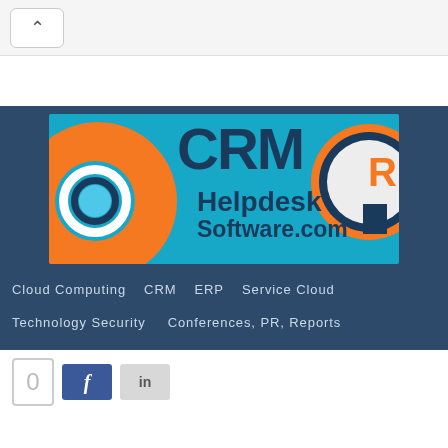Back navigation button (up arrow)
[Figure (logo): CRM Helpdesk Software .com logo on teal/cyan background with orange circles and dark navy text]
Cloud Computing
CRM
ERP
Service Cloud
Technology Security
Conferences, PR, Reports